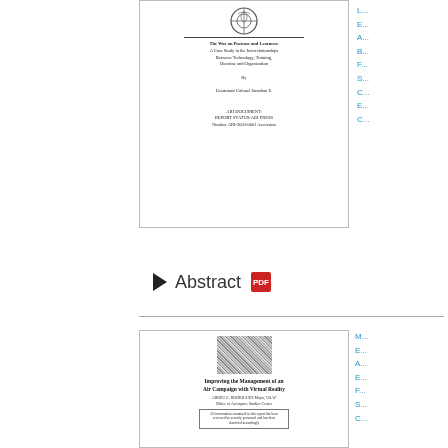[Figure (screenshot): Thumbnail of a document cover page with a military/government emblem at top, a horizontal rule, and several lines of small text including title lines about technology, training, doctrine and organizations, an author line, and bottom metadata lines.]
Abstract
[Figure (screenshot): Thumbnail of a document titled 'Improving the Management of an Air Campaign with Virtual Reality' by ABREU E. RODRIGUES Major, USAF Office of Aerospace Studies Center, with a texture/noise image at top and a bordered text box at bottom.]